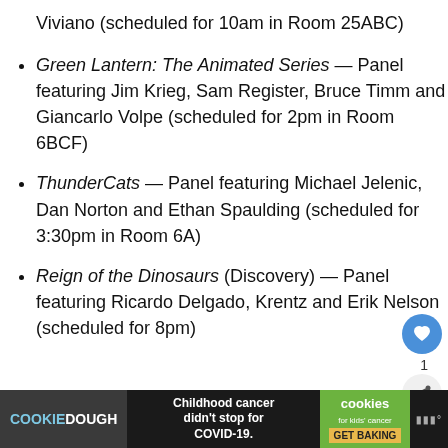Viviano (scheduled for 10am in Room 25ABC)
Green Lantern: The Animated Series — Panel featuring Jim Krieg, Sam Register, Bruce Timm and Giancarlo Volpe (scheduled for 2pm in Room 6BCF)
ThunderCats — Panel featuring Michael Jelenic, Dan Norton and Ethan Spaulding (scheduled for 3:30pm in Room 6A)
Reign of the Dinosaurs (Discovery) — Panel featuring Ricardo Delgado, Krentz and Erik Nelson (scheduled for 8pm)
[Figure (screenshot): Advertisement banner: Cookie Dough brand ad — 'Childhood cancer didn't stop for COVID-19.' with Cookies for Kids' Cancer logo and GET BAKING button]